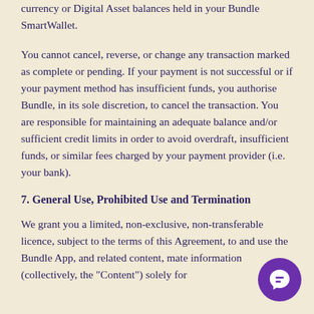currency or Digital Asset balances held in your Bundle SmartWallet.
You cannot cancel, reverse, or change any transaction marked as complete or pending. If your payment is not successful or if your payment method has insufficient funds, you authorise Bundle, in its sole discretion, to cancel the transaction. You are responsible for maintaining an adequate balance and/or sufficient credit limits in order to avoid overdraft, insufficient funds, or similar fees charged by your payment provider (i.e. your bank).
7. General Use, Prohibited Use and Termination
We grant you a limited, non-exclusive, non-transferable licence, subject to the terms of this Agreement, to and use the Bundle App, and related content, mate information (collectively, the "Content") solely for